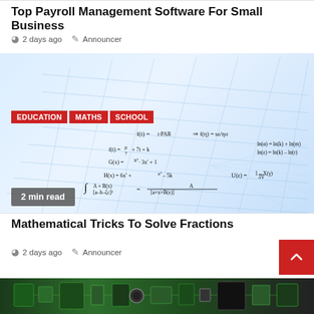Top Payroll Management Software For Small Business
2 days ago  Announcer
[Figure (photo): 3D math equations on a blue grid surface with handwritten formulas including integrals, logarithms, and algebraic expressions. Tags: EDUCATION, MATHS, SCHOOL.]
2 min read
Mathematical Tricks To Solve Fractions
2 days ago  Announcer
[Figure (photo): Close-up of electronic circuit board components at the bottom of the page.]